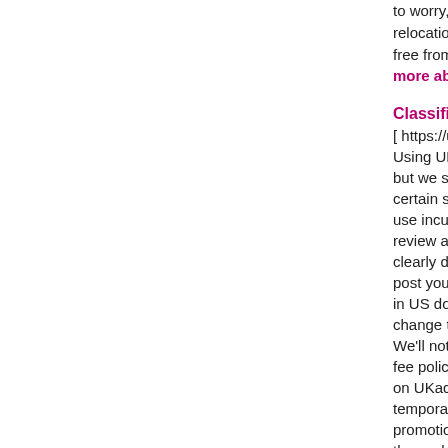to worry, we are best of vehicle relocation services? Hire us and get free from lots of worries - Read more about this listing ...
Classifieds Website
[ https://ukads.org/ ] Using UKads.org is generally free, but we sometimes charge a fee for certain services. If the service you use incurs a fee, you'll be able to review and accept terms that will be clearly disclosed at the time you post your ad. Our fees are quoted in US dollars or Euro, and we may change them from time to time. We'll notify you of changes to our fee policy by posting such changes on UKads.org. We may choose to temporarily change our fees for promotional events or new services; these changes are effective when we announce the promotional event or new service. You are